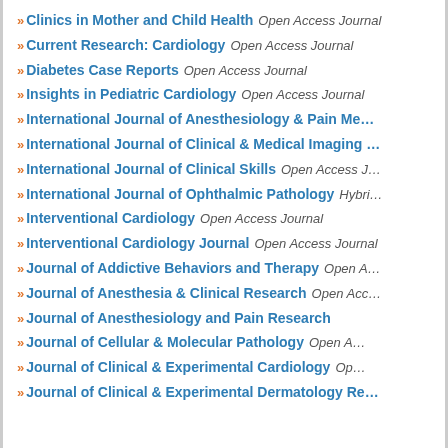Clinics in Mother and Child Health Open Access Journal
Current Research: Cardiology Open Access Journal
Diabetes Case Reports Open Access Journal
Insights in Pediatric Cardiology Open Access Journal
International Journal of Anesthesiology & Pain Me...
International Journal of Clinical & Medical Imaging ...
International Journal of Clinical Skills Open Access J...
International Journal of Ophthalmic Pathology Hybri...
Interventional Cardiology Open Access Journal
Interventional Cardiology Journal Open Access Journal
Journal of Addictive Behaviors and Therapy Open A...
Journal of Anesthesia & Clinical Research Open Acc...
Journal of Anesthesiology and Pain Research
Journal of Cellular & Molecular Pathology Open A...
Journal of Clinical & Experimental Cardiology Op...
Journal of Clinical & Experimental Dermatology Re...